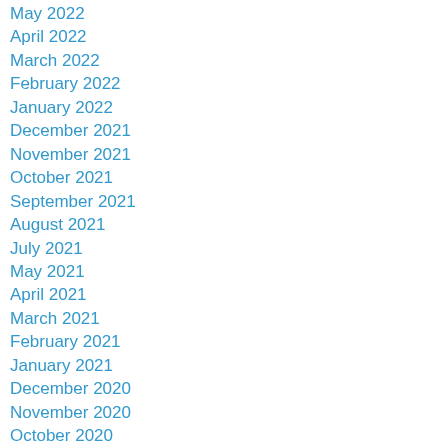May 2022
April 2022
March 2022
February 2022
January 2022
December 2021
November 2021
October 2021
September 2021
August 2021
July 2021
May 2021
April 2021
March 2021
February 2021
January 2021
December 2020
November 2020
October 2020
September 2020
August 2020